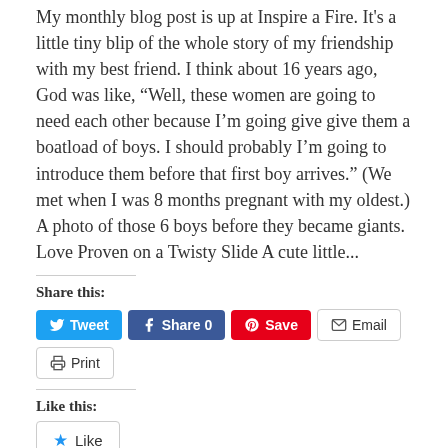My monthly blog post is up at Inspire a Fire. It's a little tiny blip of the whole story of my friendship with my best friend. I think about 16 years ago, God was like, “Well, these women are going to need each other because I’m going give give them a boatload of boys. I should probably I’m going to introduce them before that first boy arrives.” (We met when I was 8 months pregnant with my oldest.) A photo of those 6 boys before they became giants. Love Proven on a Twisty Slide A cute little...
Share this:
[Figure (screenshot): Social sharing buttons: Tweet (Twitter, blue), Share 0 (Facebook, dark blue), Save (Pinterest, red), Email (grey outline), Print (grey outline)]
Like this:
[Figure (screenshot): Like button with blue star icon]
Be the first to like this.